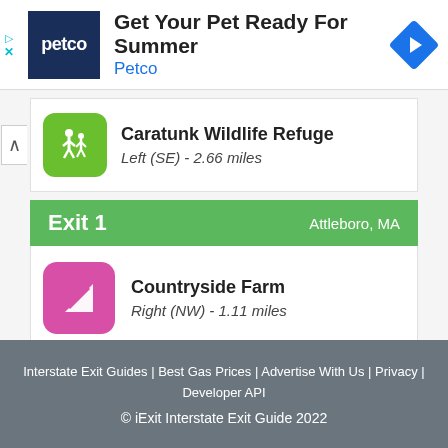[Figure (screenshot): Petco advertisement banner with logo and navigation icon]
Caratunk Wildlife Refuge
Left (SE) - 2.66 miles
Exit 1   Attleboro, MA
Countryside Farm
Right (NW) - 1.11 miles
Interstate Exit Guides | Best Gas Prices | Advertise With Us | Privacy | Developer API
© iExit Interstate Exit Guide 2022